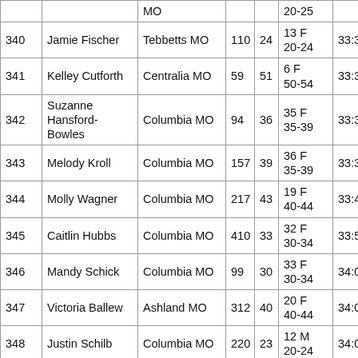|  |  | MO |  |  | 20-25 |  |
| --- | --- | --- | --- | --- | --- | --- |
| 340 | Jamie Fischer | Tebbetts MO | 110 | 24 | 13 F 20-24 | 33:31.4 |
| 341 | Kelley Cutforth | Centralia MO | 59 | 51 | 6 F 50-54 | 33:32.4 |
| 342 | Suzanne Hansford-Bowles | Columbia MO | 94 | 36 | 35 F 35-39 | 33:32.8 |
| 343 | Melody Kroll | Columbia MO | 157 | 39 | 36 F 35-39 | 33:33.1 |
| 344 | Molly Wagner | Columbia MO | 217 | 43 | 19 F 40-44 | 33:41.5 |
| 345 | Caitlin Hubbs | Columbia MO | 410 | 33 | 32 F 30-34 | 33:58.5 |
| 346 | Mandy Schick | Columbia MO | 99 | 30 | 33 F 30-34 | 34:05.4 |
| 347 | Victoria Ballew | Ashland MO | 312 | 40 | 20 F 40-44 | 34:07.6 |
| 348 | Justin Schilb | Columbia MO | 220 | 23 | 12 M 20-24 | 34:08.0 |
| 349 | Randall Miller | Columbia MO | 322 | 39 | 13 M 35-39 | 34:10.3 |
| 350 | Recille Norris | Columbia MO | 47 | 32 | 34 F 30-34 | 34:13.3 |